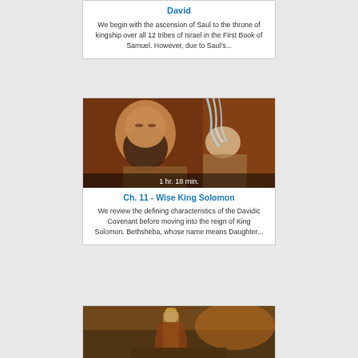David
We begin with the ascension of Saul to the throne of kingship over all 12 tribes of Israel in the First Book of Samuel. However, due to Saul's...
[Figure (photo): Painting of a bearded man being anointed, with water being poured over a bowed head. Duration label: 1 hr. 18 min.]
Ch. 11 - Wise King Solomon
We review the defining characteristics of the Davidic Covenant before moving into the reign of King Solomon. Bethsheba, whose name means Daughter...
[Figure (photo): Painting of a king figure standing in a dramatic scene.]